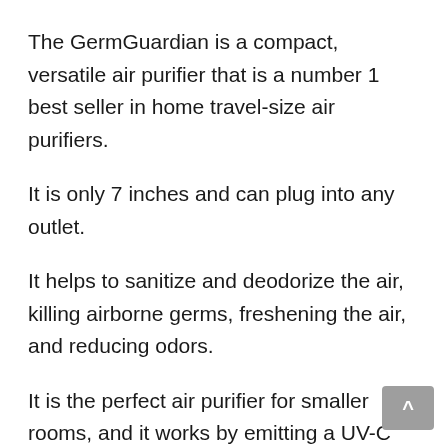The GermGuardian is a compact, versatile air purifier that is a number 1 best seller in home travel-size air purifiers.
It is only 7 inches and can plug into any outlet.
It helps to sanitize and deodorize the air, killing airborne germs, freshening the air, and reducing odors.
It is the perfect air purifier for smaller rooms, and it works by emitting a UV-C light that helps to kill airborne germs and viruses, as well as works to reduce VOCs.